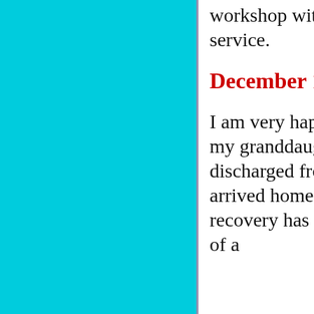workshop with a laundry service.
December 14th
I am very happy to report that my granddaughter was discharged from hospital and arrived home on Friday.  Her recovery has been nothing short of a